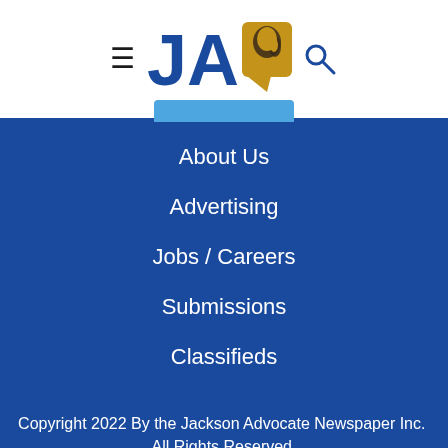[Figure (logo): Jackson Advocate newspaper logo with JA text and silhouette profile icon in gold/blue, flanked by hamburger menu and search icons]
About Us
Advertising
Jobs / Careers
Submissions
Classifieds
Copyright 2022 By the Jackson Advocate Newspaper Inc.  All Rights Reserved.

No duplication of the materials contained herein is permitted without the express written permission from the publisher.